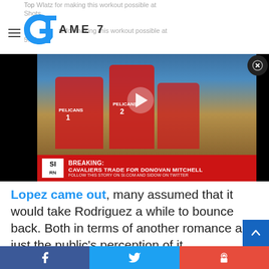GAME 7
[Figure (screenshot): Sports video player showing New Orleans Pelicans players celebrating, with a breaking news banner: 'BREAKING: CAVALIERS TRADE FOR DONOVAN MITCHELL']
Lopez came out, many assumed that it would take Rodriguez a while to bounce back. Both in terms of another romance and just the public's perception of it.
But the exact obvious occurred.
Rodriguez found himself a new girl extremely quickly